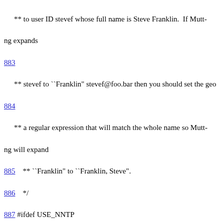** to user ID stevef whose full name is Steve Franklin.  If Muttng expands
883
** stevef to ``Franklin" stevef@foo.bar then you should set the geo
884
** a regular expression that will match the whole name so Muttng will expand
885    ** ``Franklin" to ``Franklin, Steve".
886    */
887 #ifdef USE_NNTP
888
{"nntp_group_index_format", DT_STR, R_BOTH, UL &GroupFor
889  /*
890    ** .pp
891    ** Availability: NNTP
892    **
893    ** .pp
894
** This variable allows you to customize the newsgroup browser d
895
** your personal taste.  This string is similar to ``$index_format", b
896    ** has its own set of \fTprintf(3)\fP-like sequences:
897    ** .pp
898    ** .ts
899    ** %C      current newsgroup number